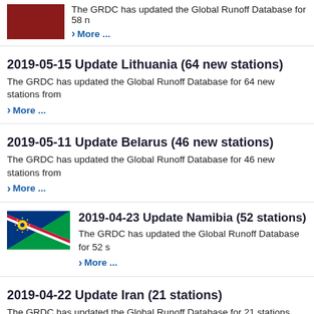[Figure (illustration): Dark red/maroon colored rectangular flag image (partially visible, top of page)]
The GRDC has updated the Global Runoff Database for 58 ...
More ...
2019-05-15 Update Lithuania (64 new stations)
The GRDC has updated the Global Runoff Database for 64 new stations from ...
More ...
2019-05-11 Update Belarus (46 new stations)
The GRDC has updated the Global Runoff Database for 46 new stations from ...
More ...
[Figure (illustration): Namibia flag: blue triangle top-left, red diagonal stripe with white borders, green triangle bottom-right, yellow sun in blue area]
2019-04-23 Update Namibia (52 stations)
The GRDC has updated the Global Runoff Database for 52 s...
More ...
2019-04-22 Update Iran (21 stations)
The GRDC has updated the Global Runoff Database for 21 stations from Ira...
More ...